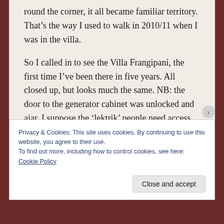round the corner, it all became familiar territory. That’s the way I used to walk in 2010/11 when I was in the villa.
So I called in to see the Villa Frangipani, the first time I’ve been there in five years. All closed up, but looks much the same. NB: the door to the generator cabinet was unlocked and ajar. I suppose the ‘lektrik’ people need access to the meter? That generator would be a prime target for thieves, though.
Privacy & Cookies: This site uses cookies. By continuing to use this website, you agree to their use.
To find out more, including how to control cookies, see here: Cookie Policy
Close and accept